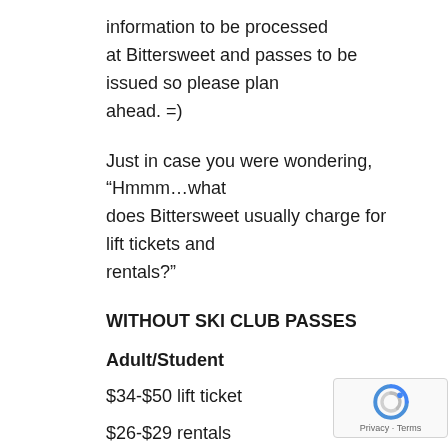information to be processed at Bittersweet and passes to be issued so please plan ahead. =)
Just in case you were wondering, “Hmmm…what does Bittersweet usually charge for lift tickets and rentals?”
WITHOUT SKI CLUB PASSES
Adult/Student
$34-$50 lift ticket
$26-$29 rentals
$10 helmet rental
WITH SKI CLUB PASSES ($18 each pass –